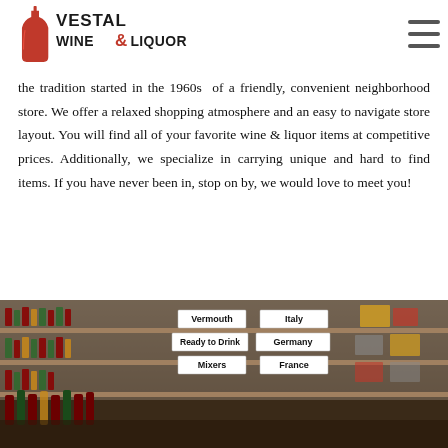[Figure (logo): Vestal Wine & Liquor logo with red bottle silhouette and black text]
the tradition started in the 1960s of a friendly, convenient neighborhood store. We offer a relaxed shopping atmosphere and an easy to navigate store layout. You will find all of your favorite wine & liquor items at competitive prices. Additionally, we specialize in carrying unique and hard to find items. If you have never been in, stop on by, we would love to meet you!
[Figure (photo): Interior of Vestal Wine & Liquor store showing shelves stocked with wine and liquor bottles, with category signs including Vermouth, Ready to Drink, Mixers, Italy, Germany, France]